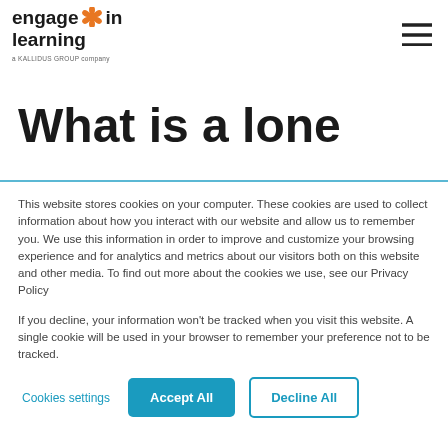[Figure (logo): Engage in Learning logo with orange flower/star icon and text 'a KALLIDUS GROUP company' below]
[Figure (illustration): Hamburger menu icon (three horizontal lines) in top right corner]
What is a lone
This website stores cookies on your computer. These cookies are used to collect information about how you interact with our website and allow us to remember you. We use this information in order to improve and customize your browsing experience and for analytics and metrics about our visitors both on this website and other media. To find out more about the cookies we use, see our Privacy Policy
If you decline, your information won’t be tracked when you visit this website. A single cookie will be used in your browser to remember your preference not to be tracked.
Cookies settings   Accept All   Decline All